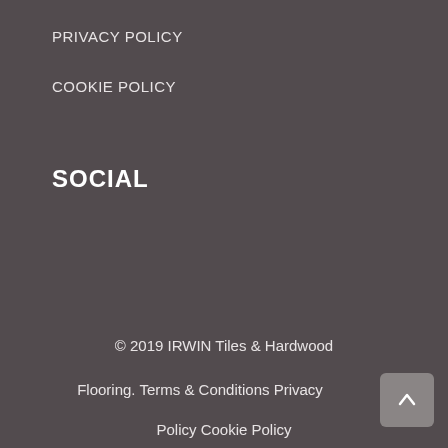PRIVACY POLICY
COOKIE POLICY
SOCIAL
© 2019 IRWIN Tiles & Hardwood
Flooring. Terms & Conditions Privacy
Policy Cookie Policy